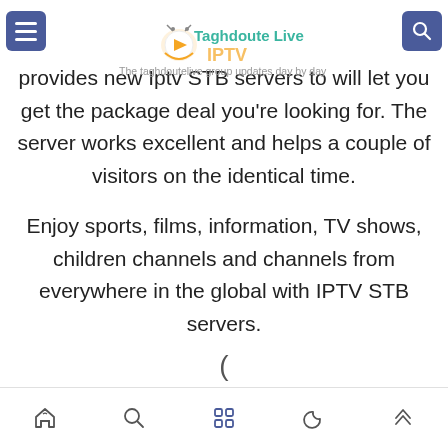Taghdoute Live IPTV — The taghdoutelive group updates day by day and
provides new Iptv STB servers to will let you get the package deal you're looking for. The server works excellent and helps a couple of visitors on the identical time.
Enjoy sports, films, information, TV shows, children channels and channels from everywhere in the global with IPTV STB servers.
(
Home Search Apps Dark mode Top